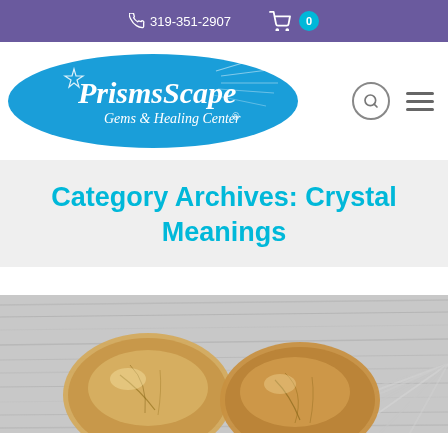319-351-2907  Cart 0
[Figure (logo): PrismsScape Gems & Healing Center logo – white text on blue oval with crystal/prism graphic]
Category Archives: Crystal Meanings
[Figure (photo): Two golden/honey-colored polished crystal stones on a silver reflective surface]